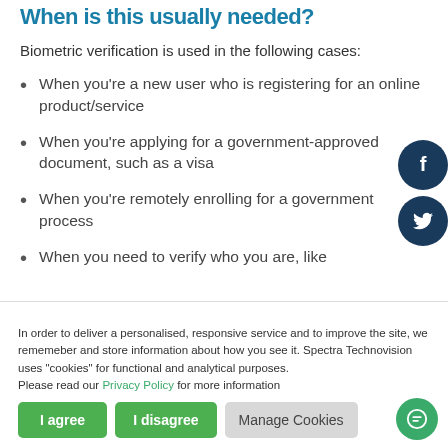When is this usually needed?
Biometric verification is used in the following cases:
When you're a new user who is registering for an online product/service
When you're applying for a government-approved document, such as a visa
When you're remotely enrolling for a government process
When you need to verify who you are, like…
In order to deliver a personalised, responsive service and to improve the site, we rememeber and store information about how you see it. Spectra Technovision uses "cookies" for functional and analytical purposes.
Please read our Privacy Policy for more information
I agree | I disagree | Manage Cookies